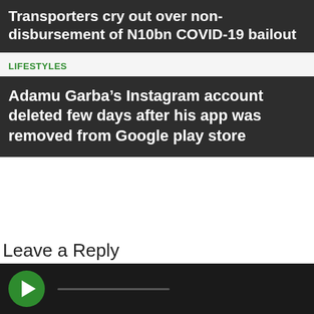Transporters cry out over non-disbursement of N10bn COVID-19 bailout
LIFESTYLES
Adamu Garba’s Instagram account deleted few days after his app was removed from Google play store
Leave a Reply
Enter your comment here...